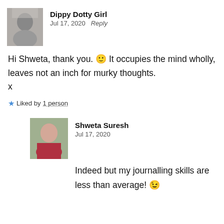Dippy Dotty Girl — Jul 17, 2020 Reply
Hi Shweta, thank you. 🙂 It occupies the mind wholly, leaves not an inch for murky thoughts.
x
★ Liked by 1 person
Shweta Suresh — Jul 17, 2020
Indeed but my journalling skills are less than average! 😉